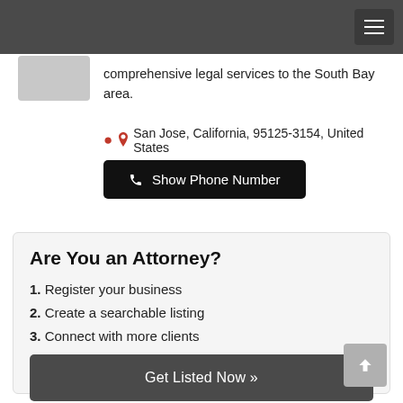comprehensive legal services to the South Bay area.
San Jose, California, 95125-3154, United States
Show Phone Number
Are You an Attorney?
1. Register your business
2. Create a searchable listing
3. Connect with more clients
Get Listed Now »